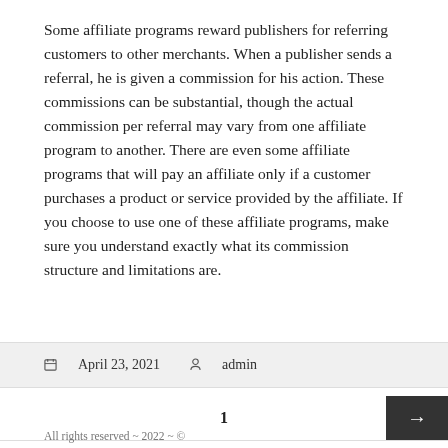Some affiliate programs reward publishers for referring customers to other merchants. When a publisher sends a referral, he is given a commission for his action. These commissions can be substantial, though the actual commission per referral may vary from one affiliate program to another. There are even some affiliate programs that will pay an affiliate only if a customer purchases a product or service provided by the affiliate. If you choose to use one of these affiliate programs, make sure you understand exactly what its commission structure and limitations are.
April 23, 2021   admin
1
All rights reserved ~ 2022 ~ ©